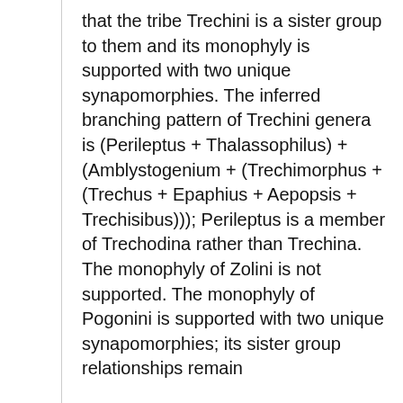that the tribe Trechini is a sister group to them and its monophyly is supported with two unique synapomorphies. The inferred branching pattern of Trechini genera is (Perileptus + Thalassophilus) + (Amblystogenium + (Trechimorphus + (Trechus + Epaphius + Aepopsis + Trechisibus))); Perileptus is a member of Trechodina rather than Trechina. The monophyly of Zolini is not supported. The monophyly of Pogonini is supported with two unique synapomorphies; its sister group relationships remain